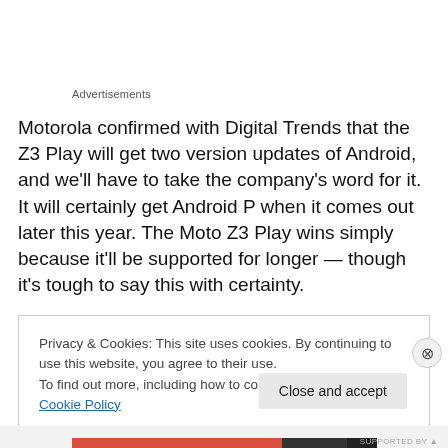Advertisements
Motorola confirmed with Digital Trends that the Z3 Play will get two version updates of Android, and we’ll have to take the company’s word for it. It will certainly get Android P when it comes out later this year. The Moto Z3 Play wins simply because it’ll be supported for longer — though it’s tough to say this with certainty.
Privacy & Cookies: This site uses cookies. By continuing to use this website, you agree to their use.
To find out more, including how to control cookies, see here: Cookie Policy